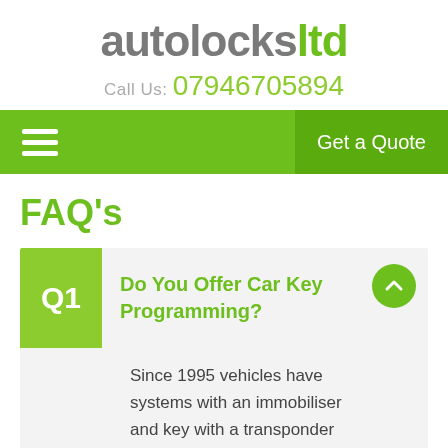autolocksltd
Call Us: 07946705894
[Figure (screenshot): Navigation bar with hamburger menu icon on the left and 'Get a Quote' button on the right, green background]
FAQ's
Q1 Do You Offer Car Key Programming?
Since 1995 vehicles have systems with an immobiliser and key with a transponder chip. When providing transponder key replacement